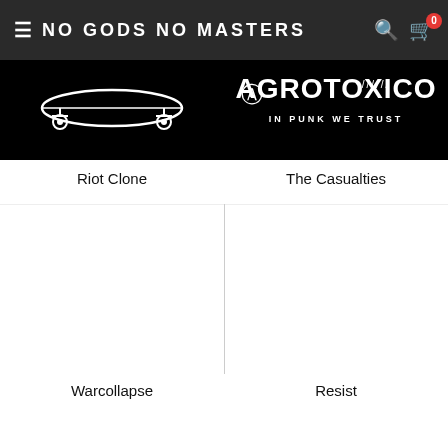NO GODS NO MASTERS
[Figure (photo): Black background image with Riot Clone skateboard logo in white]
Riot Clone
[Figure (logo): Black background with Agrotoxico / The Casualties logo in white - IN PUNK WE TRUST]
The Casualties
[Figure (photo): White/blank product image placeholder for Warcollapse]
Warcollapse
[Figure (photo): White/blank product image placeholder for Resist]
Resist